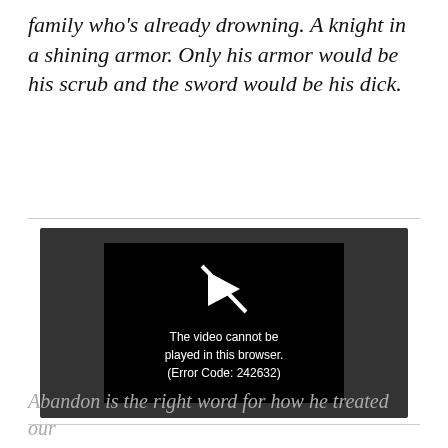family who's already drowning. A knight in a shining armor. Only his armor would be his scrub and the sword would be his dick.
[Figure (screenshot): Video player showing error message: 'The video cannot be played in this browser. (Error Code: 242632)' on a dark background with a play icon crossed out.]
Abandon is the right word for how he treated our